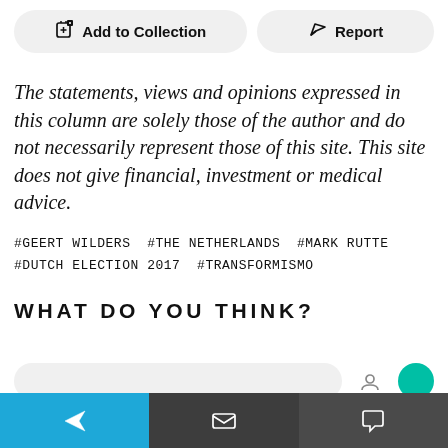[Figure (screenshot): Two UI buttons: 'Add to Collection' (with a box-plus icon) and 'Report' (with a flag icon), styled as rounded pill buttons on a light grey background.]
The statements, views and opinions expressed in this column are solely those of the author and do not necessarily represent those of this site. This site does not give financial, investment or medical advice.
#GEERT WILDERS #THE NETHERLANDS #MARK RUTTE #DUTCH ELECTION 2017 #TRANSFORMISMO
WHAT DO YOU THINK?
[Figure (screenshot): Bottom navigation bar with three sections: blue section with paper-plane send icon, dark grey section with envelope icon, dark grey section with speech bubble icon. Above it, a partial preview of a comment/input row.]